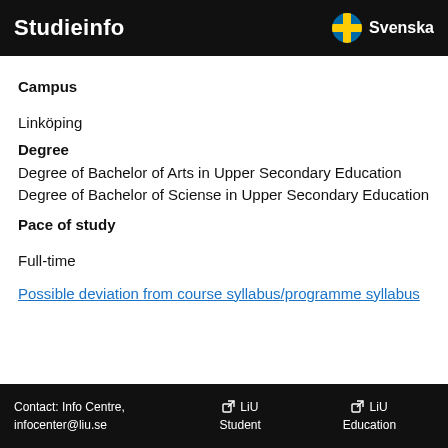Studieinfo  Svenska
Campus
Linköping
Degree
Degree of Bachelor of Arts in Upper Secondary Education
Degree of Bachelor of Sciense in Upper Secondary Education
Pace of study
Full-time
Possible deviation from course syllabus/programme syllabus
Contact: Info Centre, infocenter@liu.se    LiU Student    LiU Education